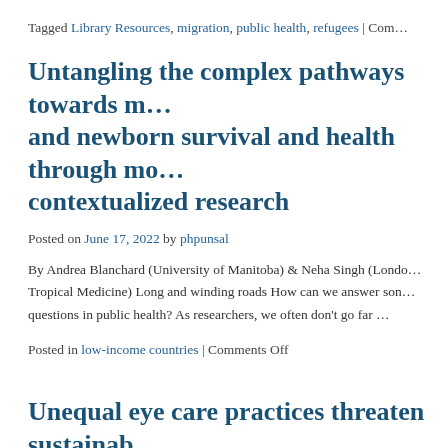Tagged Library Resources, migration, public health, refugees | Com…
Untangling the complex pathways towards m… and newborn survival and health through mo… contextualized research
Posted on June 17, 2022 by phpunsal
By Andrea Blanchard (University of Manitoba) & Neha Singh (Londo… Tropical Medicine) Long and winding roads How can we answer son… questions in public health? As researchers, we often don't go far …
Posted in low-income countries | Comments Off
Unequal eye care practices threaten sustainab… care, study finds
Posted on June 14, 2022 by Hugh Bassett
Health care services are substantial contributors to national greenho…